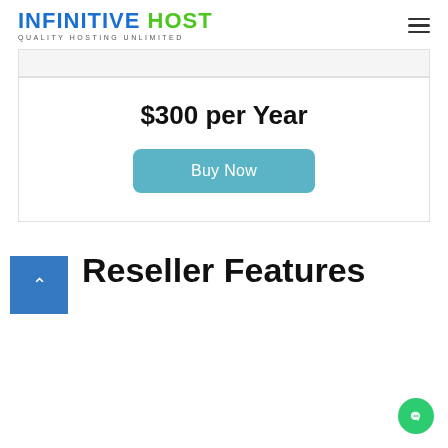INFINITIVE HOST — QUALITY HOSTING UNLIMITED
$300 per Year
Buy Now
Reseller Features